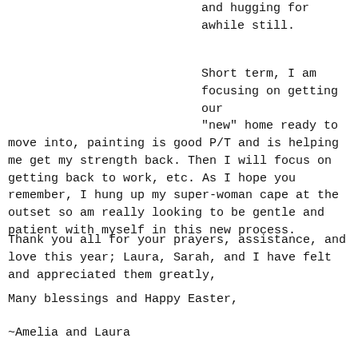and hugging for awhile still.
Short term, I am focusing on getting our “new” home ready to move into, painting is good P/T and is helping me get my strength back. Then I will focus on getting back to work, etc. As I hope you remember, I hung up my super-woman cape at the outset so am really looking to be gentle and patient with myself in this new process.
Thank you all for your prayers, assistance, and love this year; Laura, Sarah, and I have felt and appreciated them greatly,
Many blessings and Happy Easter,
~Amelia and Laura